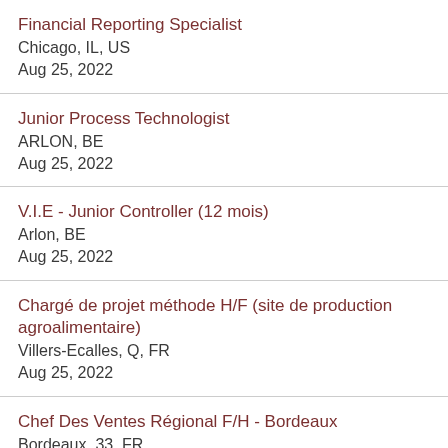Financial Reporting Specialist
Chicago, IL, US
Aug 25, 2022
Junior Process Technologist
ARLON, BE
Aug 25, 2022
V.I.E - Junior Controller (12 mois)
Arlon, BE
Aug 25, 2022
Chargé de projet méthode H/F (site de production agroalimentaire)
Villers-Ecalles, Q, FR
Aug 25, 2022
Chef Des Ventes Régional F/H - Bordeaux
Bordeaux, 33, FR